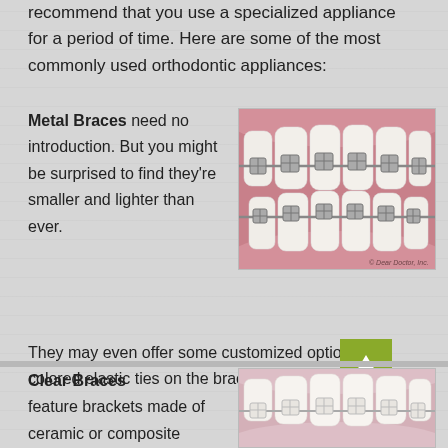recommend that you use a specialized appliance for a period of time. Here are some of the most commonly used orthodontic appliances:
Metal Braces need no introduction. But you might be surprised to find they're smaller and lighter than ever. They may even offer some customized options, like colored elastic ties on the brackets.
[Figure (illustration): Close-up illustration of metal braces on teeth, showing metal brackets and wires on upper and lower teeth against pink gum tissue. © Dear Doctor, Inc.]
Clear Braces feature brackets made of ceramic or composite